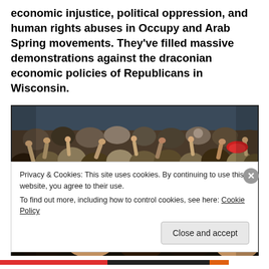economic injustice, political oppression, and human rights abuses in Occupy and Arab Spring movements. They've filled massive demonstrations against the draconian economic policies of Republicans in Wisconsin.
[Figure (photo): A large crowd of people at a rally or demonstration, many with arms raised and hands up, cheering. A sign reading 'YES' is visible in the lower center of the crowd.]
Privacy & Cookies: This site uses cookies. By continuing to use this website, you agree to their use.
To find out more, including how to control cookies, see here: Cookie Policy